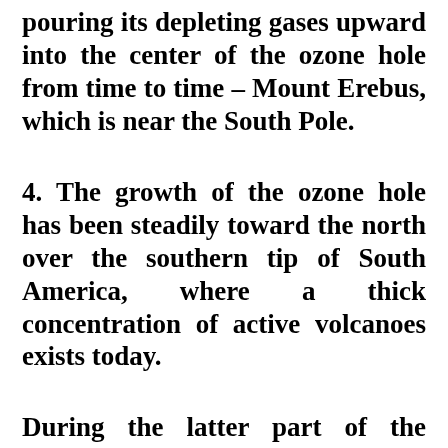pouring its depleting gases upward into the center of the ozone hole from time to time – Mount Erebus, which is near the South Pole.
4. The growth of the ozone hole has been steadily toward the north over the southern tip of South America, where a thick concentration of active volcanoes exists today.
During the latter part of the Tribulation, on the same day of